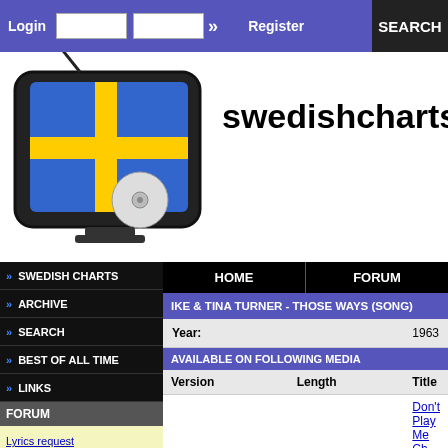Login  Register  SEARCH
swedishcharts.co
SWEDISH CHARTS
ARCHIVE
SEARCH
BEST OF ALL TIME
LINKS
FORUM
Lyrics request
Swedish Electro Songs ?
Music of Sweden
Selecting a B2B Telemarketing Company
Chart Positions Pre 1976
HOME   FORUM
IKE & TINA TURNER - THOSE WAYS (SONG)
| Year: |
| --- |
| 1963 |
AVAILABLE ON FOLLOWING MEDIA
| Version | Length | Title |
| --- | --- | --- |
|  |  | Don't Play Me Ch |
MUSIC DIRECTORY
| Artist | Link |
| --- | --- |
| Ike & Tina Turner | Ike & Tina Turn |
| Tina Turner | Tina Turner: Di Official Site |
| Ike Turner | Ike Turner: Dis |
SONGS BY IKE & TINA TURNER
(As Long As I Can) Get You When I Want You
(I'll Do Anything) Just To Be With You
(You've Got To) Put Something Into It
3 O'Clock In The Morning Blues
A Fool For A Fool
A Fool In Love
A Fool Too Long